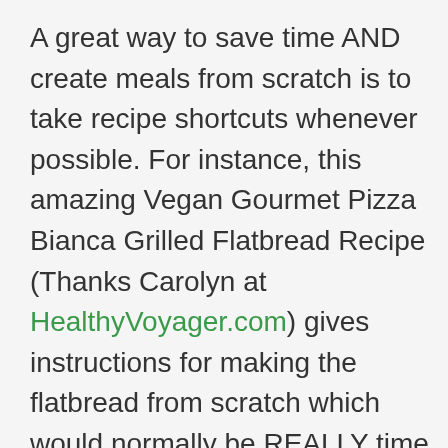A great way to save time AND create meals from scratch is to take recipe shortcuts whenever possible. For instance, this amazing Vegan Gourmet Pizza Bianca Grilled Flatbread Recipe (Thanks Carolyn at HealthyVoyager.com) gives instructions for making the flatbread from scratch which would normally be REALLY time consuming. You can save hours and get similar results by buying pre-made flatbread!